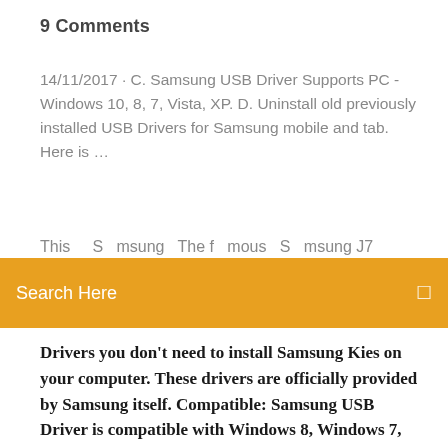9 Comments
14/11/2017 · C. Samsung USB Driver Supports PC - Windows 10, 8, 7, Vista, XP. D. Uninstall old previously installed USB Drivers for Samsung mobile and tab. Here is …
This is Samsung The famous Samsung J7 USB…
Search Here
Drivers you don't need to install Samsung Kies on your computer. These drivers are officially provided by Samsung itself. Compatible: Samsung USB Driver is compatible with Windows 8, Windows 7, Windows Vista and Windows XP (for both 32 and 64 bit).
Pilote Samsung - Pilote Samsung Télécharger Samsung ML-1640 Driver Windows & Mac. samsungpilote.com-May 15, 2019. 0. Télécharger Pilote Samsung A40 USB Installer Windows & Mac. samsungpilote.com-February 5, 2020. 0. Télécharger Samsung ML-1660 Driver Windows & Mac. samsungpilote.com-